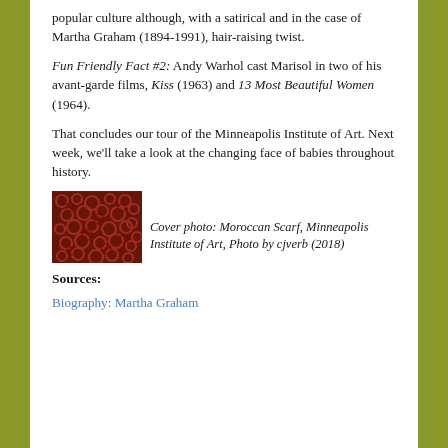popular culture although, with a satirical and in the case of Martha Graham (1894-1991), hair-raising twist.
Fun Friendly Fact #2: Andy Warhol cast Marisol in two of his avant-garde films, Kiss (1963) and 13 Most Beautiful Women (1964).
That concludes our tour of the Minneapolis Institute of Art. Next week, we’ll take a look at the changing face of babies throughout history.
[Figure (photo): Photo of a Moroccan Scarf showing red swirling patterns, from the Minneapolis Institute of Art]
Cover photo: Moroccan Scarf, Minneapolis Institute of Art, Photo by cjverb (2018)
Sources:
Biography: Martha Graham